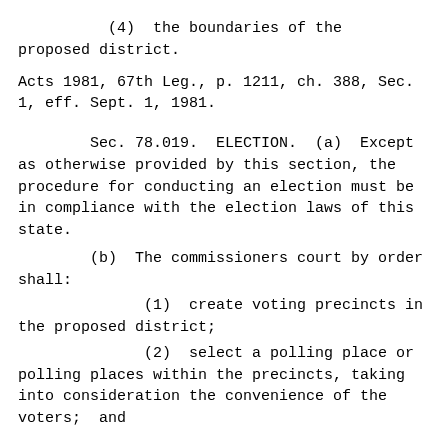(4)  the boundaries of the proposed district.
Acts 1981, 67th Leg., p. 1211, ch. 388, Sec. 1, eff. Sept. 1, 1981.
Sec. 78.019.  ELECTION.  (a)  Except as otherwise provided by this section, the procedure for conducting an election must be in compliance with the election laws of this state.
(b)  The commissioners court by order shall:
(1)  create voting precincts in the proposed district;
(2)  select a polling place or polling places within the precincts, taking into consideration the convenience of the voters; and